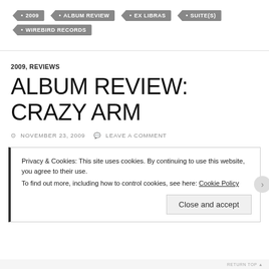• 2009
• ALBUM REVIEW
• EX LIBRAS
• SUITE(S)
• WIREBIRD RECORDS
2009, REVIEWS
ALBUM REVIEW: CRAZY ARM
NOVEMBER 23, 2009   LEAVE A COMMENT
Privacy & Cookies: This site uses cookies. By continuing to use this website, you agree to their use.
To find out more, including how to control cookies, see here: Cookie Policy
Close and accept